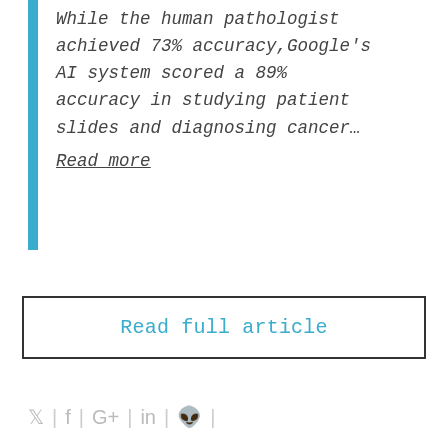While the human pathologist achieved 73% accuracy,Google's AI system scored a 89% accuracy in studying patient slides and diagnosing cancer… Read more
Read full article
Social share icons: Twitter | Facebook | Google+ | LinkedIn | Reddit |
Similar
PyTorch Funds Grants for Remote, Open Source Work on AI and Privacy (Apply